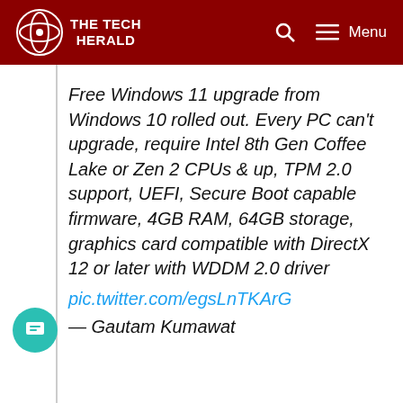THE TECH HERALD
Free Windows 11 upgrade from Windows 10 rolled out. Every PC can't upgrade, require Intel 8th Gen Coffee Lake or Zen 2 CPUs & up, TPM 2.0 support, UEFI, Secure Boot capable firmware, 4GB RAM, 64GB storage, graphics card compatible with DirectX 12 or later with WDDM 2.0 driver
pic.twitter.com/egsLnTKArG
— Gautam Kumawat